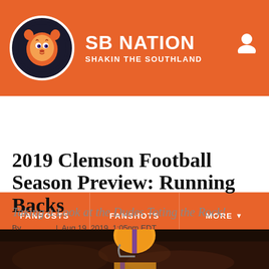SB NATION — SHAKIN THE SOUTHLAND
2019 Clemson Football Season Preview: Running Backs
Taking a Look at the Dudes Toting the Rock!
By C_Craft | Aug 19, 2019, 1:05pm EDT
[Figure (other): Social share icons: Facebook, Twitter, and a generic share button with SHARE label]
[Figure (photo): Partial photo at bottom of page showing a Clemson football player helmet]